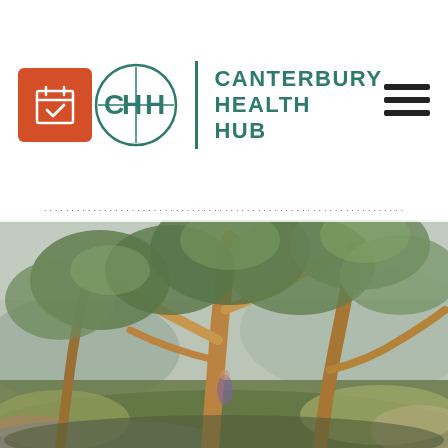[Figure (logo): Canterbury Health Hub logo with booking icon, circular CHH monogram, teal text, and hamburger menu icon. Formerly Osteopathy on Canterbury tagline below.]
[Figure (photo): Nature photo showing gnarled trees with orange/yellow bark, green foliage, mountains in background, flowers and shrubs in foreground, muted vintage color tone.]